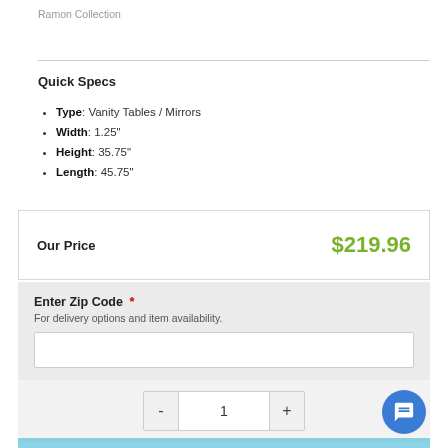Ramon Collection
Quick Specs
Type: Vanity Tables / Mirrors
Width: 1.25"
Height: 35.75"
Length: 45.75"
Our Price   $219.96
Enter Zip Code *
For delivery options and item availability.
1